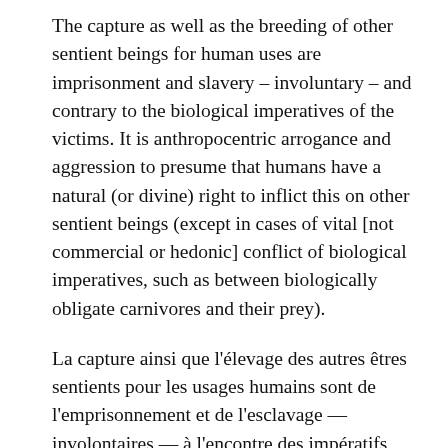The capture as well as the breeding of other sentient beings for human uses are imprisonment and slavery – involuntary – and contrary to the biological imperatives of the victims. It is anthropocentric arrogance and aggression to presume that humans have a natural (or divine) right to inflict this on other sentient beings (except in cases of vital [not commercial or hedonic] conflict of biological imperatives, such as between biologically obligate carnivores and their prey).
La capture ainsi que l'élevage des autres êtres sentients pour les usages humains sont de l'emprisonnement et de l'esclavage — involontaires — à l'encontre des impératifs biologiques des victimes. C'est une arrogance et une agression anthropocentriques de présumer que les humains ont un droit naturel (ou divin) d'infliger cela à d'autres êtres sensibles (sauf en cas de conflit d'impératifs biologiques [pas les intérêts commerciaux